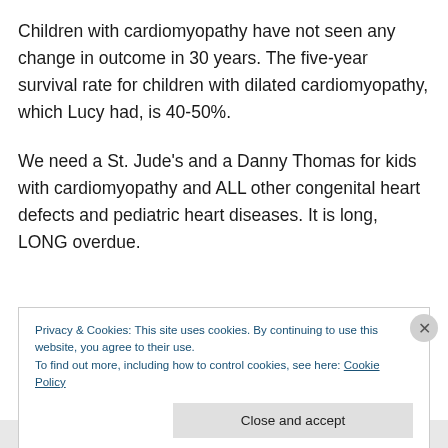Children with cardiomyopathy have not seen any change in outcome in 30 years. The five-year survival rate for children with dilated cardiomyopathy, which Lucy had, is 40-50%.
We need a St. Jude's and a Danny Thomas for kids with cardiomyopathy and ALL other congenital heart defects and pediatric heart diseases. It is long, LONG overdue.
I think Ashton Kutcher could be our Danny Thomas. He has a personal connection to the disease, he is very
Privacy & Cookies: This site uses cookies. By continuing to use this website, you agree to their use.
To find out more, including how to control cookies, see here: Cookie Policy